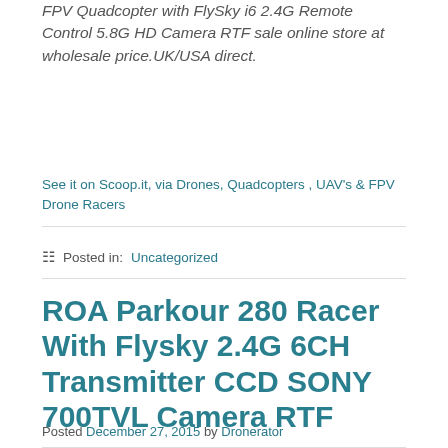FPV Quadcopter with FlySky i6 2.4G Remote Control 5.8G HD Camera RTF sale online store at wholesale price.UK/USA direct.
See it on Scoop.it, via Drones, Quadcopters , UAV's & FPV Drone Racers
Posted in: Uncategorized
ROA Parkour 280 Racer With Flysky 2.4G 6CH Transmitter CCD SONY 700TVL Camera RTF
Posted December 27, 2015 by Dronerator